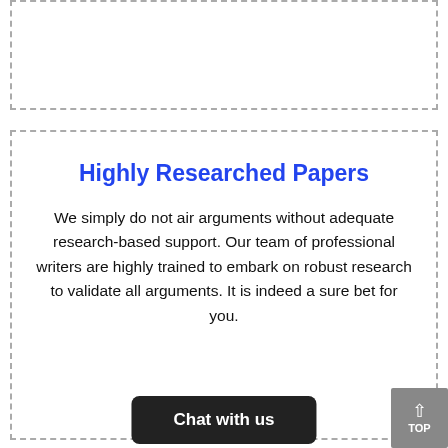Highly Researched Papers
We simply do not air arguments without adequate research-based support. Our team of professional writers are highly trained to embark on robust research to validate all arguments. It is indeed a sure bet for you.
C...g
Chat with us